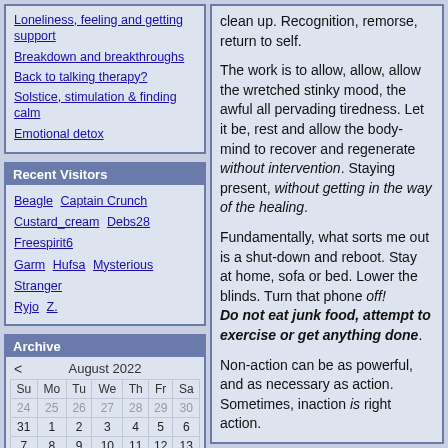Loneliness, feeling and getting support
Breakdown and breakthroughs
Back to talking therapy?
Solstice, stimulation & finding calm
Emotional detox
Recent Visitors
Beagle  Captain Crunch  Custard_cream  Debs28  Freespirit6  Garm  Hufsa  Mysterious Stranger  Ryjo  Z.
Archive
| Su | Mo | Tu | We | Th | Fr | Sa |
| --- | --- | --- | --- | --- | --- | --- |
| 24 | 25 | 26 | 27 | 28 | 29 | 30 |
| 31 | 1 | 2 | 3 | 4 | 5 | 6 |
| 7 | 8 | 9 | 10 | 11 | 12 | 13 |
| 14 | 15 | 16 | 17 | 18 | 19 | 20 |
| 21 | 22 | 23 | 24 | 25 | 26 | 27 |
| 28 | 29 | 30 | 31 | 1 | 2 | 3 |
clean up. Recognition, remorse, return to self. The work is to allow, allow, allow the wretched stinky mood, the awful all pervading tiredness. Let it be, rest and allow the body-mind to recover and regenerate without intervention. Staying present, without getting in the way of the healing. Fundamentally, what sorts me out is a shut-down and reboot. Stay at home, sofa or bed. Lower the blinds. Turn that phone off! Do not eat junk food, attempt to exercise or get anything done. Non-action can be as powerful, and as necessary as action. Sometimes, inaction is right action.